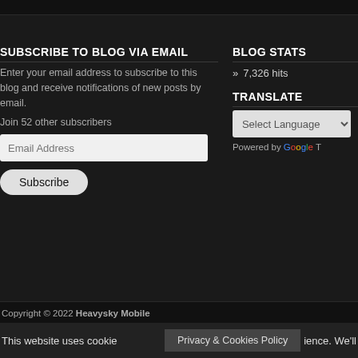SUBSCRIBE TO BLOG VIA EMAIL
Enter your email address to subscribe to this blog and receive notifications of new posts by email.
Join 52 other subscribers
BLOG STATS
» 7,326 hits
TRANSLATE
Powered by Google Translate
Copyright © 2022 Heavysky Mobile
This website uses cookie... Privacy & Cookies Policy ...ience. We'll